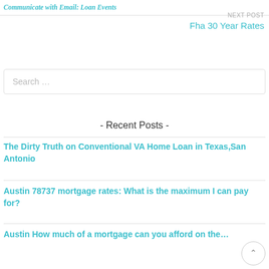Communicate with Email: Loan Events
NEXT POST
Fha 30 Year Rates
Search …
- Recent Posts -
The Dirty Truth on Conventional VA Home Loan in Texas,San Antonio
Austin 78737 mortgage rates: What is the maximum I can pay for?
Austin How much of a mortgage can you afford on the…